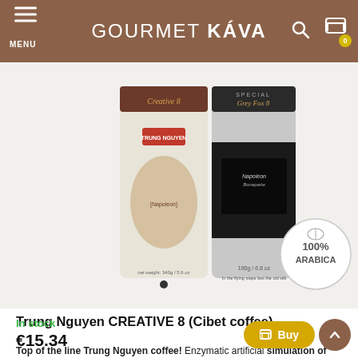GOURMET KÁVA
[Figure (photo): Two coffee packages - Trung Nguyen Creative 8 (white and black bags) with a 100% Arabica circular badge on the right]
Trung Nguyen CREATIVE 8 (Cibet coffee)
Top of the line Trung Nguyen coffee! Enzymatic artificial simulation of Cibet coffee, identical to real Kopi Luwak, but without the animal suffering! Very sweet to chocolate taste.
In stock
€15.34